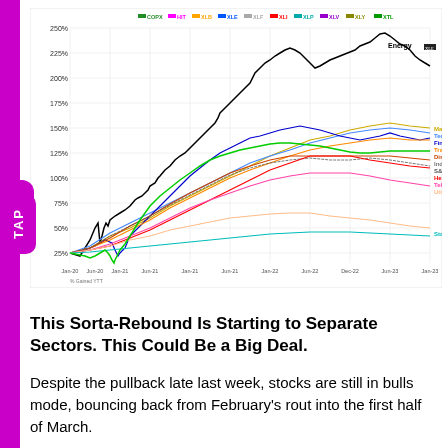[Figure (line-chart): Multi-line chart showing performance of S&P 500 sectors from Jan 2020 to Jan 2023. Energy is the top performer (~250%), followed by Materials, Technology, Financials, Transportation, Discretionary, Industrials, S&P 500, Healthcare, Telecom, Utilities, Staples at the bottom (~52%). Y-axis: 0% to 250%. The chart shows dip in early 2020 (COVID crash) and recovery through 2021-2022.]
This Sorta-Rebound Is Starting to Separate Sectors. This Could Be a Big Deal.
Despite the pullback late last week, stocks are still in bulls mode, bouncing back from February's rout into the first half of March.